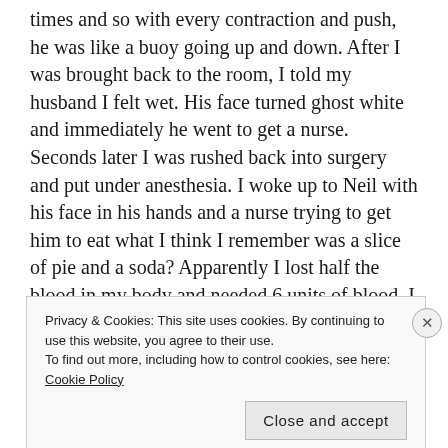times and so with every contraction and push, he was like a buoy going up and down. After I was brought back to the room, I told my husband I felt wet. His face turned ghost white and immediately he went to get a nurse. Seconds later I was rushed back into surgery and put under anesthesia. I woke up to Neil with his face in his hands and a nurse trying to get him to eat what I think I remember was a slice of pie and a soda? Apparently I lost half the blood in my body and needed 6 units of blood. I spent another 5 days in the hospital after that. After all of this,  I actually wanted to get pregnant again!
My last pregnancy was Nicholas. I for sure know my worst
Privacy & Cookies: This site uses cookies. By continuing to use this website, you agree to their use.
To find out more, including how to control cookies, see here: Cookie Policy
Close and accept